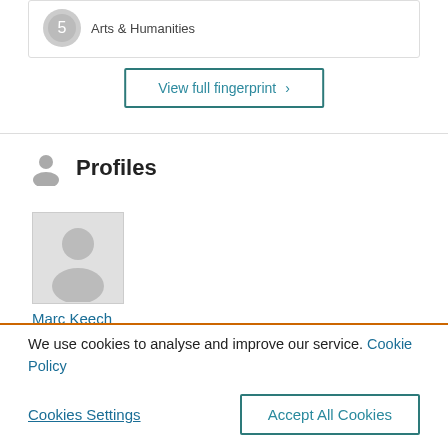Arts & Humanities
View full fingerprint ›
Profiles
[Figure (photo): Profile photo placeholder for Marc Keech]
Marc Keech
We use cookies to analyse and improve our service. Cookie Policy
Cookies Settings
Accept All Cookies